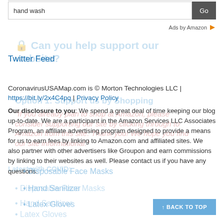hand wash [search input] Go
Ads by Amazon
Twitter Feed
CoronavirusUSAMap.com is © Morton Technologies LLC | https://bit.ly/2x4C4pq | Privacy Policy
Our disclosure to you: We spend a great deal of time keeping our blog up-to-date. We are a participant in the Amazon Services LLC Associates Program, an affiliate advertising program designed to provide a means for us to earn fees by linking to Amazon.com and affiliated sites. We also partner with other advertisers like Groupon and earn commissions by linking to their websites as well. Please contact us if you have any questions.
Disposable Face Masks
Hand Sanitizer
Latex Gloves
BACK TO TOP